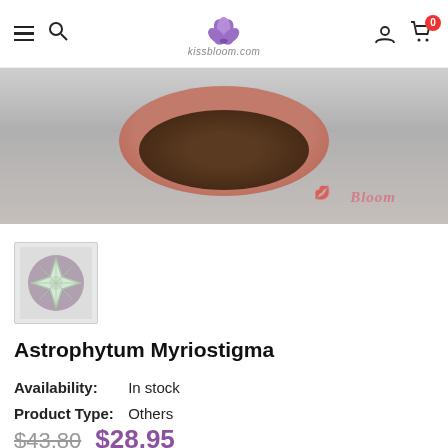kissbloom.com navigation header with hamburger menu, search, logo, account, and cart (0)
[Figure (photo): Top-down photo of a cactus in a round terracotta pot with soil visible, with a 'Bloom' watermark in the lower right]
[Figure (photo): Thumbnail image of Astrophytum Myriostigma cactus showing a star-shaped succulent in a round pot]
Astrophytum Myriostigma
Availability:  In stock
Product Type:  Others
$43.80  $28.95